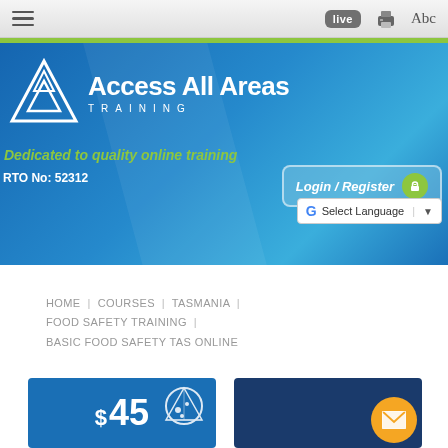[Figure (screenshot): Browser toolbar with hamburger menu, live button, print icon, and Abc text button]
[Figure (logo): Access All Areas Training logo with mountain triangle graphic on blue banner background]
Dedicated to quality online training
RTO No: 52312
Login / Register
Select Language
HOME | COURSES | TASMANIA | FOOD SAFETY TRAINING | BASIC FOOD SAFETY TAS ONLINE
[Figure (infographic): Blue card showing $45 price with pizza icon]
[Figure (infographic): Dark blue card with orange envelope circle icon]